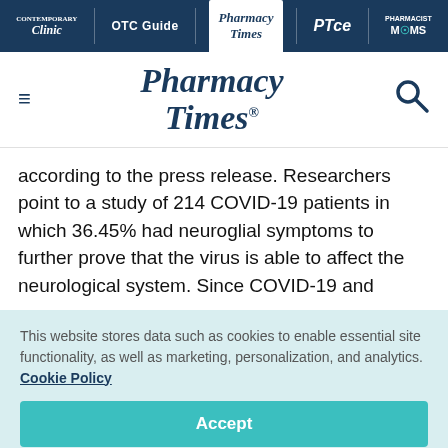Contemporary Clinic | OTC Guide | Pharmacy Times | PTce | Pharmacist MOMS
[Figure (logo): Pharmacy Times logo with hamburger menu and search icon]
according to the press release. Researchers point to a study of 214 COVID-19 patients in which 36.45% had neuroglial symptoms to further prove that the virus is able to affect the neurological system. Since COVID-19 and
This website stores data such as cookies to enable essential site functionality, as well as marketing, personalization, and analytics. Cookie Policy
Accept
Deny